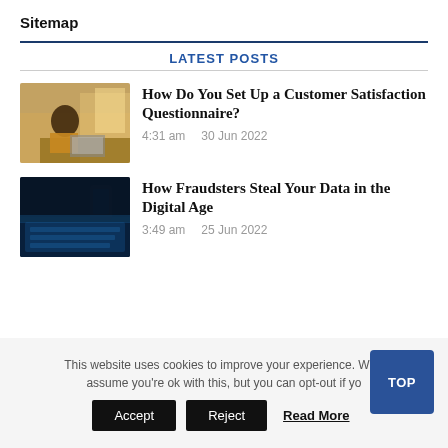Sitemap
LATEST POSTS
[Figure (photo): Woman in yellow top sitting at a desk working on a laptop, warm lighting]
How Do You Set Up a Customer Satisfaction Questionnaire?
4:31 am    30 Jun 2022
[Figure (photo): Dark image of a laptop with blue keyboard lighting and phone in background]
How Fraudsters Steal Your Data in the Digital Age
3:49 am    25 Jun 2022
This website uses cookies to improve your experience. We'll assume you're ok with this, but you can opt-out if yo
Accept   Reject   Read More